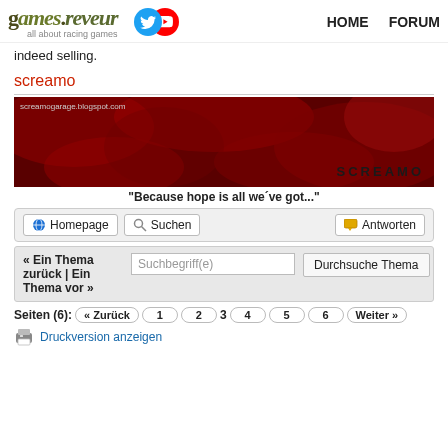games.reveur – all about racing games | HOME | FORUM
indeed selling.
screamo
[Figure (illustration): Red and black abstract banner from screamogarage.blogspot.com with text SCREAMO at bottom right]
"Because hope is all we´ve got..."
Toolbar with Homepage, Suchen, Antworten buttons
« Ein Thema zurück | Ein Thema vor » | Suchbegriff(e) | Durchsuche Thema
Seiten (6): « Zurück 1 2 3 4 5 6 Weiter »
Druckversion anzeigen